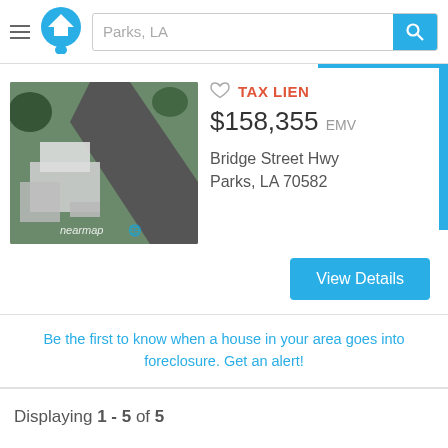Parks, LA
[Figure (screenshot): Aerial satellite view of a property with buildings and road, watermarked with 'nearmap']
TAX LIEN
$158,355 EMV
Bridge Street Hwy
Parks, LA 70582
View Details
Be the first to know when a house in your area goes into foreclosure. Get an alert!
Displaying 1 - 5 of 5
Home Value Estimator For Parks, LA